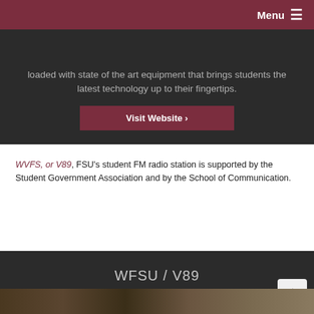Menu ≡
loaded with state of the art equipment that brings students the latest technology up to their fingertips.
Visit Website ›
WVFS, or V89, FSU's student FM radio station is supported by the Student Government Association and by the School of Communication.
WFSU / V89
The Voice of Florida State
[Figure (photo): Bottom image strip showing books/documents]